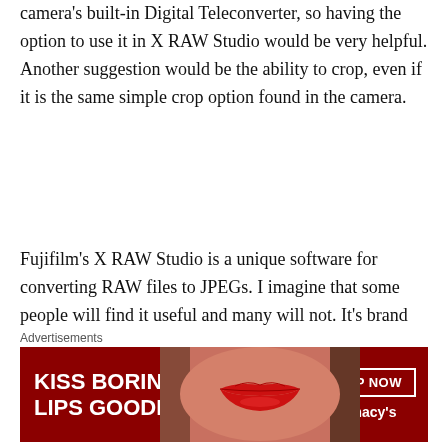camera's built-in Digital Teleconverter, so having the option to use it in X RAW Studio would be very helpful. Another suggestion would be the ability to crop, even if it is the same simple crop option found in the camera.
Fujifilm's X RAW Studio is a unique software for converting RAW files to JPEGs. I imagine that some people will find it useful and many will not. It's brand new, and I think that some improvements are coming in the future, and if done right, it could be a nice tool. I suggest
Advertisements
[Figure (photo): Advertisement banner for Macy's with text 'KISS BORING LIPS GOODBYE' on dark red background with a woman's lips photo, and a 'SHOP NOW' button with Macy's star logo]